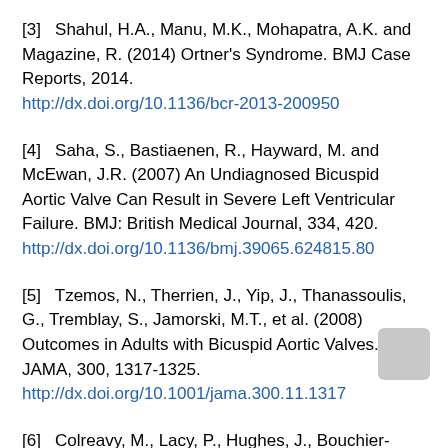[3]   Shahul, H.A., Manu, M.K., Mohapatra, A.K. and Magazine, R. (2014) Ortner's Syndrome. BMJ Case Reports, 2014. http://dx.doi.org/10.1136/bcr-2013-200950
[4]   Saha, S., Bastiaenen, R., Hayward, M. and McEwan, J.R. (2007) An Undiagnosed Bicuspid Aortic Valve Can Result in Severe Left Ventricular Failure. BMJ: British Medical Journal, 334, 420. http://dx.doi.org/10.1136/bmj.39065.624815.80
[5]   Tzemos, N., Therrien, J., Yip, J., Thanassoulis, G., Tremblay, S., Jamorski, M.T., et al. (2008) Outcomes in Adults with Bicuspid Aortic Valves. JAMA, 300, 1317-1325. http://dx.doi.org/10.1001/jama.300.11.1317
[6]   Colreavy, M., Lacy, P., Hughes, J., Bouchier-Hayes, D., Brennan, P., O'Dwyer, A., et al. (2000) Head and Neck Schwannomas. A 10 Year Review.